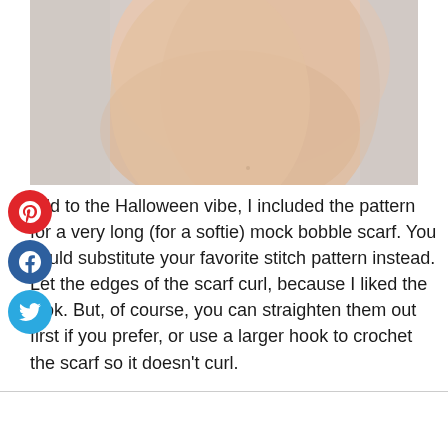[Figure (photo): Close-up photo of a person's hand/wrist area against a light gray background, showing part of a crochet scarf or accessory.]
add to the Halloween vibe, I included the pattern for a very long (for a softie) mock bobble scarf. You could substitute your favorite stitch pattern instead. Let the edges of the scarf curl, because I liked the look. But, of course, you can straighten them out first if you prefer, or use a larger hook to crochet the scarf so it doesn't curl.